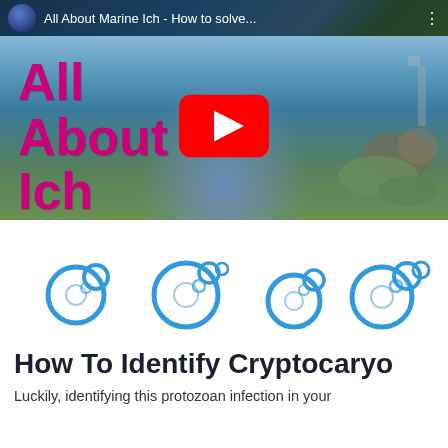[Figure (screenshot): YouTube video thumbnail/embed showing a man in a gray t-shirt in front of a reef aquarium. Text overlay on left reads 'All About Ich' in magenta/pink bold font. A red YouTube play button is centered. Top bar shows YouTube interface with title 'All About Marine Ich - How to solve...' and a channel avatar.]
[Figure (illustration): Four groups of blue bubble/circle icons arranged horizontally, representing Ich (Cryptocaryon) parasites or decorative section divider.]
How To Identify Cryptocaryo
Luckily, identifying this protozoan infection in your